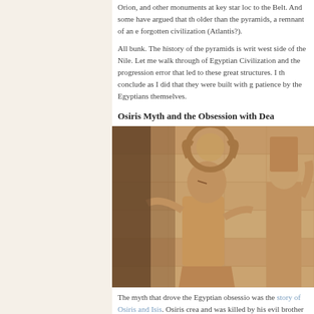Orion, and other monuments at key star locations aligned to the Belt. And some have argued that the Sphinx is older than the pyramids, a remnant of an earlier forgotten civilization (Atlantis?).
All bunk. The history of the pyramids is written in the west side of the Nile. Let me walk through the history of Egyptian Civilization and the progression of trial and error that led to these great structures. I think you will conclude as I did that they were built with great patience by the Egyptians themselves.
Osiris Myth and the Obsession with Dea...
[Figure (photo): Stone relief carving showing Egyptian deity figures (likely Isis and another deity) in profile, carved into sandstone temple wall. The figures are in the traditional Egyptian artistic style with headdresses and hieroglyphic surroundings.]
The myth that drove the Egyptian obsession with death was the story of Osiris and Isis. Osiris created civilization and was killed by his evil brother Set, who cut him into fourteen pieces and scattered them. His wife Isis brought these pieces back together and resurrected, impregnating isis and moving...